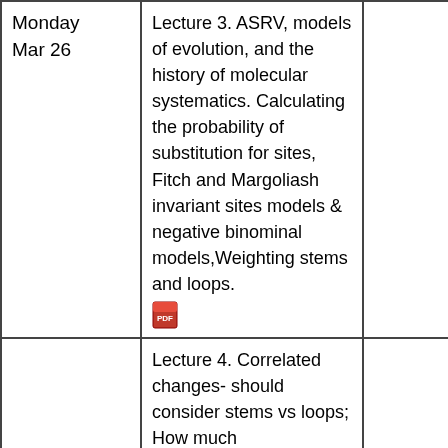| Date | Lecture |  |
| --- | --- | --- |
| Monday Mar 26 | Lecture 3. ASRV, models of evolution, and the history of molecular systematics. Calculating the probability of substitution for sites, Fitch and Margoliash invariant sites models & negative binominal models,Weighting stems and loops. [pdf] |  |
|  | Lecture 4. Correlated changes- should consider stems vs loops; How much |  |